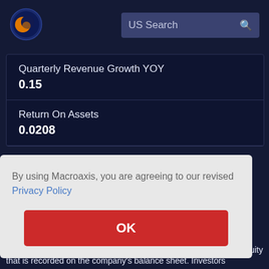[Figure (logo): Macroaxis logo - circular globe icon with orange and blue colors]
US Search
Quarterly Revenue Growth YOY
0.15
Return On Assets
0.0208
By using Macroaxis, you are agreeing to our revised Privacy Policy
OK
Equity that is recorded on the company's balance sheet. Investors